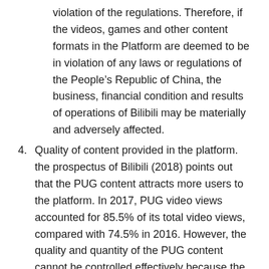The reasons for them were both because of the violation of the regulations. Therefore, if the videos, games and other content formats in the Platform are deemed to be in violation of any laws or regulations of the People's Republic of China, the business, financial condition and results of operations of Bilibili may be materially and adversely affected.
4. Quality of content provided in the platform. the prospectus of Bilibili (2018) points out that the PUG content attracts more users to the platform. In 2017, PUG video views accounted for 85.5% of its total video views, compared with 74.5% in 2016. However, the quality and quantity of the PUG content cannot be controlled effectively because the content is produced by users. The quality of the content will affect the number of users. Once the number of users declines, the company's revenue